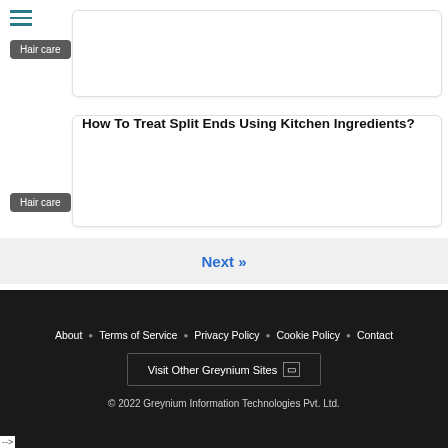[Figure (other): Hamburger menu icon with three horizontal teal lines]
[Figure (other): Content card 1 with Hair care tag (partially visible, no title shown)]
Hair care
How To Treat Split Ends Using Kitchen Ingredients?
Hair care
Next »
About • Terms of Service • Privacy Policy • Cookie Policy • Contact
Visit Other Greynium Sites
© 2022 Greynium Information Technologies Pvt. Ltd.